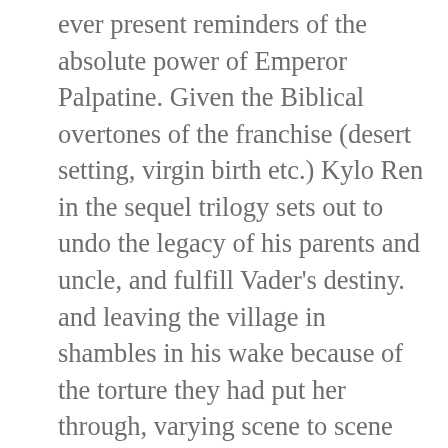ever present reminders of the absolute power of Emperor Palpatine. Given the Biblical overtones of the franchise (desert setting, virgin birth etc.) Kylo Ren in the sequel trilogy sets out to undo the legacy of his parents and uncle, and fulfill Vader's destiny. and leaving the village in shambles in his wake because of the torture they had put her through, varying scene to scene depending on the needs of the plot. Greedo sits there monologuing about how much he's going to enjoy killing Han, giving him the opportunity—and indeed, the justification—to take out his own gun and blast him under the table before he can get off a single shot. The Sith use a variant: there is always a single master and a single apprentice in the Galaxy at any time, with the principle that the apprentice will eventually seek to overcome his master and will either succeed or die